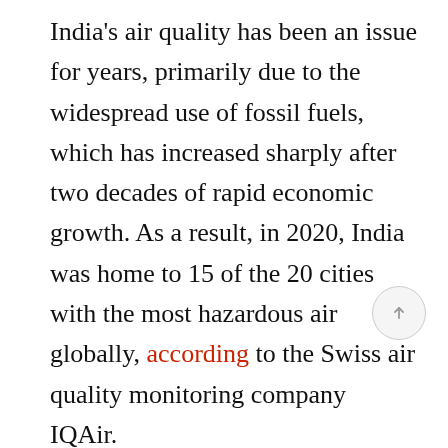India's air quality has been an issue for years, primarily due to the widespread use of fossil fuels, which has increased sharply after two decades of rapid economic growth. As a result, in 2020, India was home to 15 of the 20 cities with the most hazardous air globally, according to the Swiss air quality monitoring company IQAir.
Still, the government has stressed that the use of fossil fuels is necessary to lift millions out of